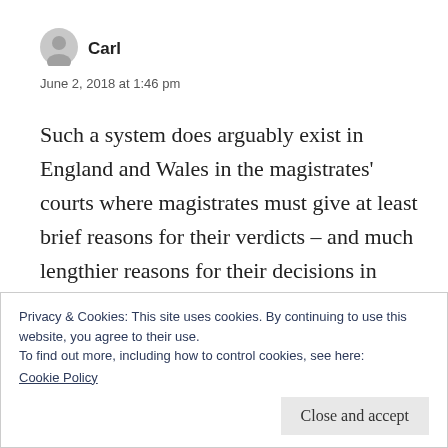[Figure (illustration): Circular avatar/user icon placeholder in gray]
Carl
June 2, 2018 at 1:46 pm
Such a system does arguably exist in England and Wales in the magistrates' courts where magistrates must give at least brief reasons for their verdicts – and much lengthier reasons for their decisions in family court cases. These reasons could no doubt be better than they sometimes are but they certainly
Privacy & Cookies: This site uses cookies. By continuing to use this website, you agree to their use.
To find out more, including how to control cookies, see here:
Cookie Policy
Close and accept